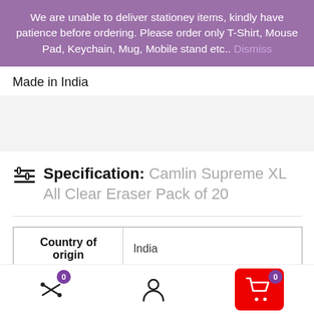We are unable to deliver stationey items, kindly have patience before ordering. Please order only T-Shirt, Mouse Pad, Keychain, Mug, Mobile stand etc.. Dismiss
Made in India
Specification: Camlin Supreme XL All Clear Eraser Pack of 20
| Country of origin |  |
| --- | --- |
| Country of origin | India |
[Figure (screenshot): Bottom navigation bar with compare icon (badge 0), user icon, and red cart button (badge 0)]